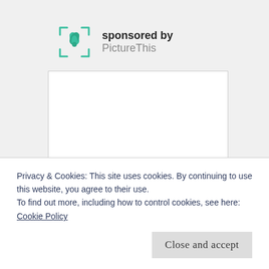[Figure (logo): PictureThis app logo: green flower/leaf icon inside a rounded square frame with corner markers]
sponsored by
PictureThis
[Figure (other): White advertisement box area]
Privacy & Cookies: This site uses cookies. By continuing to use this website, you agree to their use.
To find out more, including how to control cookies, see here:
Cookie Policy
Close and accept